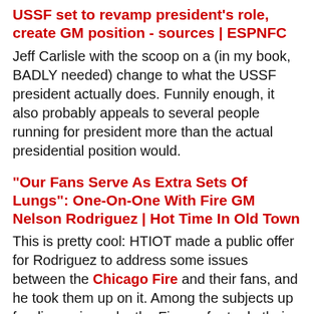USSF set to revamp president's role, create GM position - sources | ESPNFC
Jeff Carlisle with the scoop on a (in my book, BADLY needed) change to what the USSF president actually does. Funnily enough, it also probably appeals to several people running for president more than the actual presidential position would.
“Our Fans Serve As Extra Sets Of Lungs”: One-On-One With Fire GM Nelson Rodriguez | Hot Time In Old Town
This is pretty cool: HTIOT made a public offer for Rodriguez to address some issues between the Chicago Fire and their fans, and he took them up on it. Among the subjects up for discussion: why the Fire prefer to do their business in the winter window rather than the summer, and the club’s attempts to eliminate homophobic chants at Toyota Park.